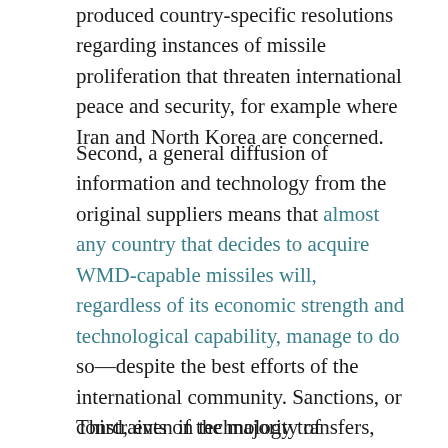produced country-specific resolutions regarding instances of missile proliferation that threaten international peace and security, for example where Iran and North Korea are concerned.
Second, a general diffusion of information and technology from the original suppliers means that almost any country that decides to acquire WMD-capable missiles will, regardless of its economic strength and technological capability, manage to do so—despite the best efforts of the international community. Sanctions, or constraints on technology transfers, might slow a missile program. But they are unlikely to stop it if the country is determined.
Third, even if the majority of proliferating countries